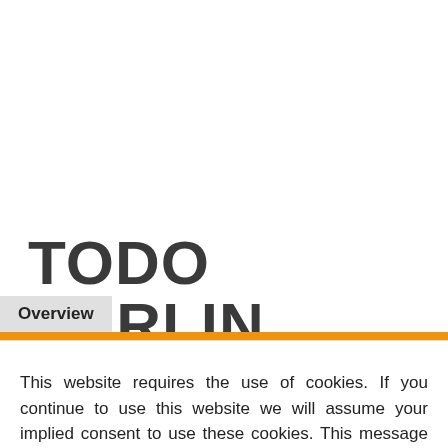TODO BERLIN
Overview
Take an eye-opening 4-hour tour around Europe's most exciting metropolis, as you discover Berlin's
This website requires the use of cookies. If you continue to use this website we will assume your implied consent to use these cookies. This message will only be displayed once.